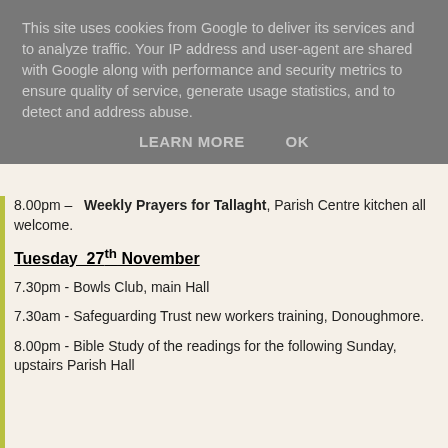This site uses cookies from Google to deliver its services and to analyze traffic. Your IP address and user-agent are shared with Google along with performance and security metrics to ensure quality of service, generate usage statistics, and to detect and address abuse.
LEARN MORE    OK
8.00pm – Weekly Prayers for Tallaght, Parish Centre kitchen all welcome.
Tuesday 27th November
7.30pm - Bowls Club, main Hall
7.30am - Safeguarding Trust new workers training, Donoughmore.
8.00pm - Bible Study of the readings for the following Sunday, upstairs Parish Hall